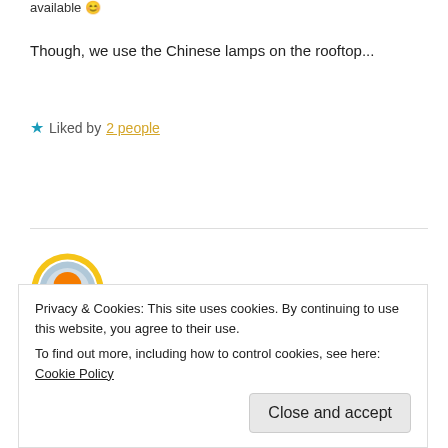available 😊
Though, we use the Chinese lamps on the rooftop...
★ Liked by 2 people
Reply
[Figure (illustration): Circular avatar icon with orange circle on light blue/gray background with a small horizontal line below, surrounded by a yellow ring]
Somali K Chakrabarti
Privacy & Cookies: This site uses cookies. By continuing to use this website, you agree to their use. To find out more, including how to control cookies, see here: Cookie Policy
Close and accept